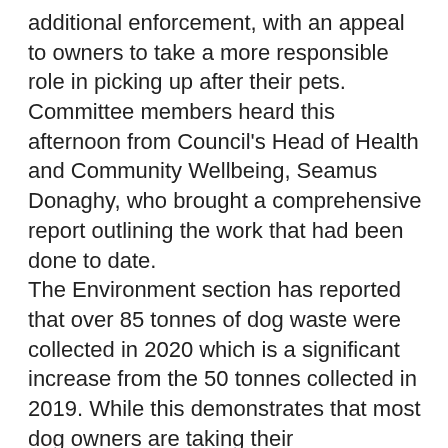additional enforcement, with an appeal to owners to take a more responsible role in picking up after their pets. Committee members heard this afternoon from Council's Head of Health and Community Wellbeing, Seamus Donaghy, who brought a comprehensive report outlining the work that had been done to date. The Environment section has reported that over 85 tonnes of dog waste were collected in 2020 which is a significant increase from the 50 tonnes collected in 2019. While this demonstrates that most dog owners are taking their responsibilities seriously, a small minority are continuing to flout the rules, spoiling walkways for other pedestrians. Among the measures now outlined for implementation are the widespread